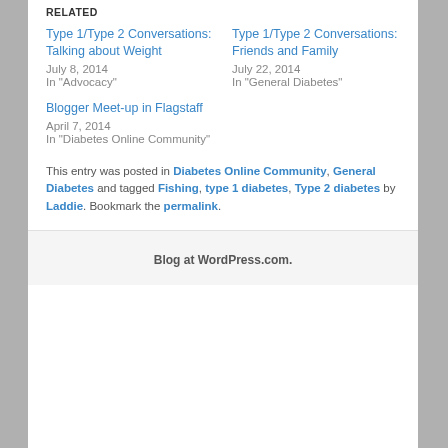RELATED
Type 1/Type 2 Conversations: Talking about Weight
July 8, 2014
In "Advocacy"
Type 1/Type 2 Conversations: Friends and Family
July 22, 2014
In "General Diabetes"
Blogger Meet-up in Flagstaff
April 7, 2014
In "Diabetes Online Community"
This entry was posted in Diabetes Online Community, General Diabetes and tagged Fishing, type 1 diabetes, Type 2 diabetes by Laddie. Bookmark the permalink.
Blog at WordPress.com.